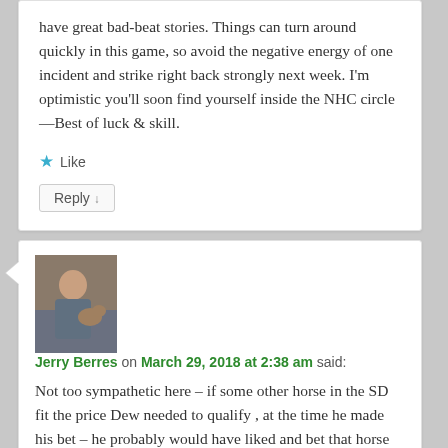have great bad-beat stories. Things can turn around quickly in this game, so avoid the negative energy of one incident and strike right back strongly next week. I'm optimistic you'll soon find yourself inside the NHC circle—Best of luck & skill.
★ Like
Reply ↓
[Figure (photo): Avatar photo of Jerry Berres, a person sitting on a couch holding a dog]
Jerry Berres on March 29, 2018 at 2:38 am said:
Not too sympathetic here – if some other horse in the SD fit the price Dew needed to qualify , at the time he made his bet – he probably would have liked and bet that horse and not Ghost